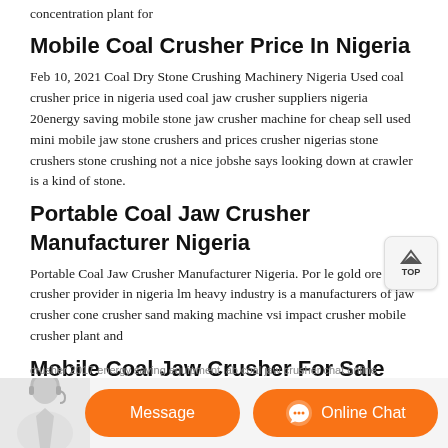concentration plant for
Mobile Coal Crusher Price In Nigeria
Feb 10, 2021 Coal Dry Stone Crushing Machinery Nigeria Used coal crusher price in nigeria used coal jaw crusher suppliers nigeria 20energy saving mobile stone jaw crusher machine for cheap sell used mini mobile jaw stone crushers and prices crusher nigerias stone crushers stone crushing not a nice jobshe says looking down at crawler is a kind of stone.
Portable Coal Jaw Crusher Manufacturer Nigeria
Portable Coal Jaw Crusher Manufacturer Nigeria. Por le gold ore jaw crusher provider in nigeria lm heavy industry is a manufacturers of jaw crusher cone crusher sand making machine vsi impact crusher mobile crusher plant and
Mobile Coal Jaw Crusher For Sale Nigeria
Mobile Coal Jaw Crusher Suppliers In Nigeria. Jaw crusher platesmall
crusher 2017 energy saving equipment lab coal jaw crusher chat online